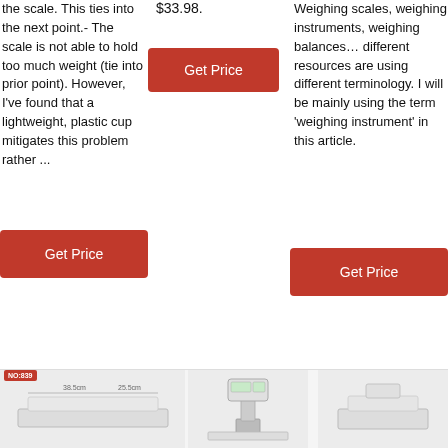the scale. This ties into the next point.- The scale is not able to hold too much weight (tie into prior point). However, I've found that a lightweight, plastic cup mitigates this problem rather ...
$33.98.
Weighing scales, weighing instruments, weighing balances… different resources are using different terminology. I will be mainly using the term 'weighing instrument' in this article.
[Figure (other): Red Get Price button (middle column)]
[Figure (other): Red Get Price button (left column)]
[Figure (other): Red Get Price button (right column)]
[Figure (photo): Bottom strip showing three weighing scale product images with a red NO:839 tag label on the left image]